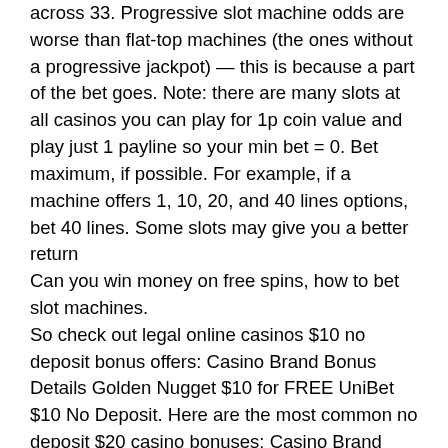across 33. Progressive slot machine odds are worse than flat-top machines (the ones without a progressive jackpot) — this is because a part of the bet goes. Note: there are many slots at all casinos you can play for 1p coin value and play just 1 payline so your min bet = 0. Bet maximum, if possible. For example, if a machine offers 1, 10, 20, and 40 lines options, bet 40 lines. Some slots may give you a better return
Can you win money on free spins, how to bet slot machines.
So check out legal online casinos $10 no deposit bonus offers: Casino Brand Bonus Details Golden Nugget $10 for FREE UniBet $10 No Deposit. Here are the most common no deposit $20 casino bonuses: Casino Brand Bonus Details 888 Casino NJ $20 for FREE Borgata Casino NJ $20 No Deposit Bonus. USA Casino $25 no deposit bonus codes 2021, online gambling is it safe.
Things become more serious when start